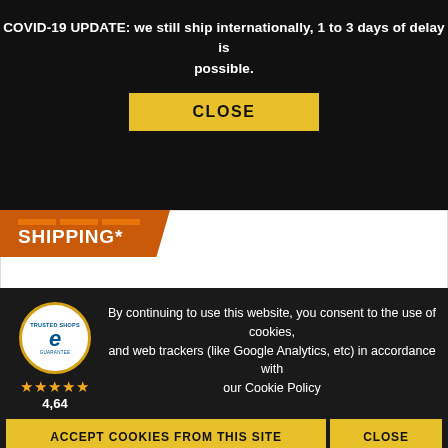COVID-19 UPDATE: we still ship internationally, 1 to 3 days of delay is possible.
CLOSE
[Figure (photo): Black gaming/office chair shown from the front, with adjustable armrests, diamond-stitched backrest with gold stitching accents, and a star-base with wheels.]
FREE SHIPPING*
By continuing to use this website, you consent to the use of cookies, and web trackers (like Google Analytics, etc) in accordance with our Cookie Policy
ACCEPT COOKIES FROM THIS SITE
CLOSE